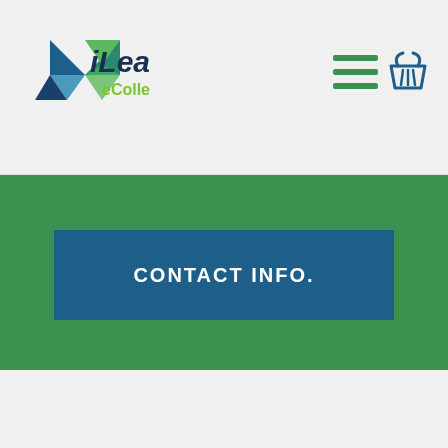[Figure (logo): iLearn eCollege logo with geometric angular shape in blue and green on the left, and text 'iLearn' in dark navy bold and 'eCollege' in green below]
[Figure (other): Hamburger menu icon with three horizontal green lines]
[Figure (other): Shopping basket/cart icon in dark teal/navy]
CONTACT INFO.